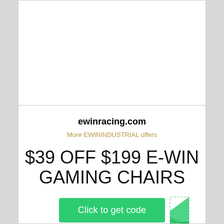ewinracing.com
More EWININDUSTRIAL offers
$39 OFF $199 E-WIN GAMING CHAIRS
[Figure (illustration): Green 'Click to get code' button with a folded coupon corner graphic on the right side]